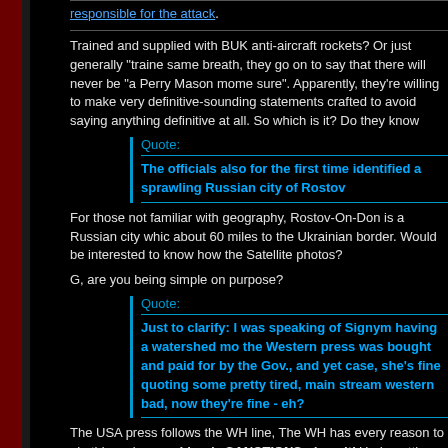responsible for the attack.
Trained and supplied with BUK anti-aircraft rockets? Or just generally "traine same breath, they go on to say that there will never be "a Perry Mason mome sure". Apparently, they're willing to make very definitive-sounding statements crafted to avoid saying anything definitive at all. So which is it? Do they know
Quote:
The officials also for the first time identified a sprawling Russian city of Rostov
For those not familiar with geography, Rostov-On-Don is a Russian city whic about 60 miles to the Ukrainian border. Would be interested to know how the Satellite photos?
G, are you being simple on purpose?
Quote:
Just to clarify: I was speaking of Signym having a watershed mo the Western press was bought and paid for by the Gov., and yet case, she's fine quoting some pretty tired, main stream western bad, now they're fine - eh?
The USA press follows the WH line, The WH has every reason to pin this on impose bloody SANCTIONS, damnit! Undercutting their own case means tha seriously than the usual propaganda that they spit out.
Let me frame this in a way that even you might understand:
Russia has been making a case all along it wasn't them. They have thro